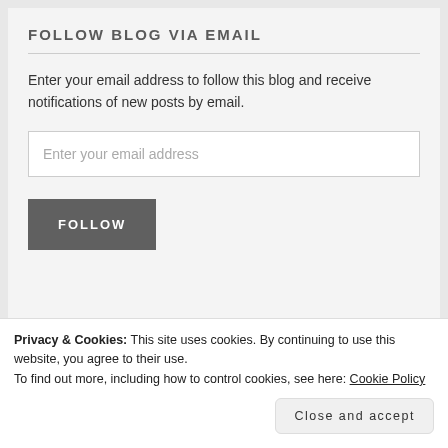FOLLOW BLOG VIA EMAIL
Enter your email address to follow this blog and receive notifications of new posts by email.
Enter your email address
FOLLOW
Privacy & Cookies: This site uses cookies. By continuing to use this website, you agree to their use.
To find out more, including how to control cookies, see here: Cookie Policy
Close and accept